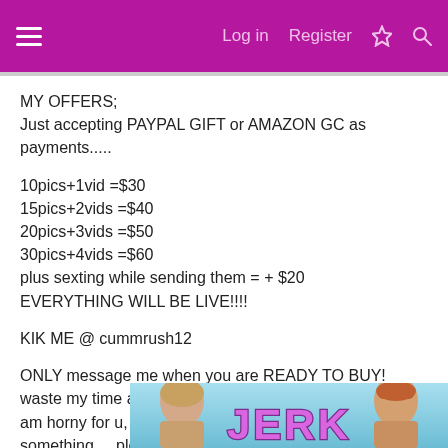Log in  Register
MY OFFERS;
Just accepting PAYPAL GIFT or AMAZON GC as payments.....
10pics+1vid =$30
15pics+2vids =$40
20pics+3vids =$50
30pics+4vids =$60
plus sexting while sending them = + $20
EVERYTHING WILL BE LIVE!!!!
KIK ME @ cummrush12
ONLY message me when you are READY TO BUY! waste my time and get BLOCKED!!! message me with "I am horny for u, im ready to buy" so i know u read something.... please follow instructions so we get along. take care!!!!
[Figure (screenshot): Bottom portion of image showing two people with text 'JERK' in large purple letters on a light blue background]